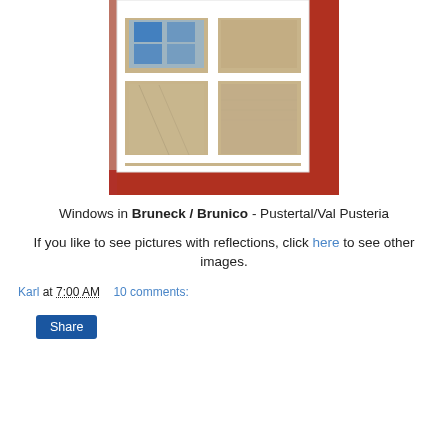[Figure (photo): A white-framed double window with red wooden surround/sill, reflecting a blue-windowed building opposite, photographed in Bruneck/Brunico, Pustertal/Val Pusteria.]
Windows in Bruneck / Brunico - Pustertal/Val Pusteria
If you like to see pictures with reflections, click here to see other images.
Karl at 7:00 AM    10 comments:
Share